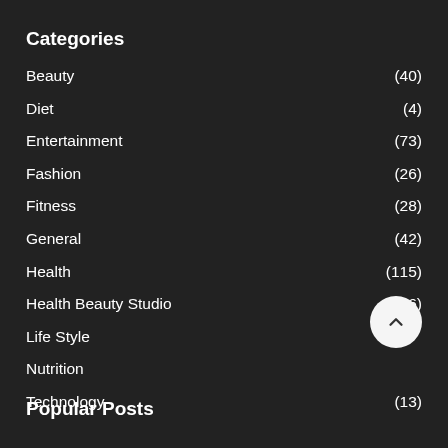Categories
Beauty (40)
Diet (4)
Entertainment (73)
Fashion (26)
Fitness (28)
General (42)
Health (115)
Health Beauty Studio (16)
Life Style (11)
Nutrition
Technology (13)
Popular Posts